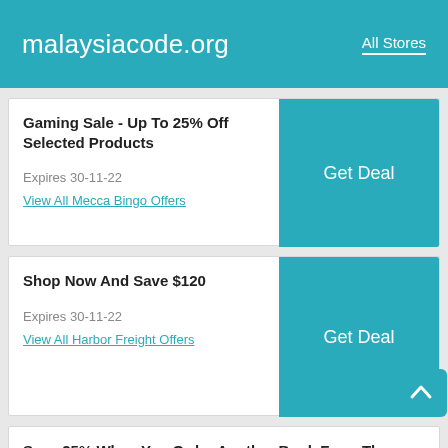malaysiacode.org   All Stores
Gaming Sale - Up To 25% Off Selected Products
Expires 30-11-22
View All Mecca Bingo Offers
Shop Now And Save $120
Expires 30-11-22
View All Harbor Freight Offers
Save 25% When You Order Another Book From Th...